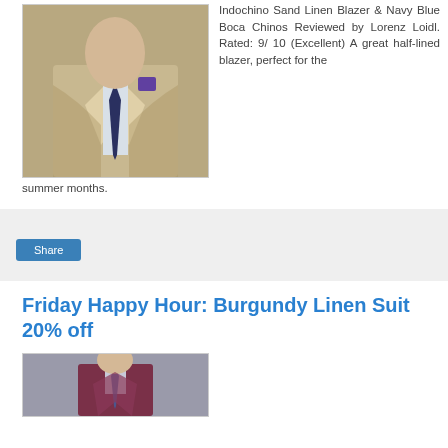[Figure (photo): Man in a sand linen blazer with navy blue tie and purple pocket square]
Indochino Sand Linen Blazer & Navy Blue Boca Chinos Reviewed by Lorenz Loidl. Rated: 9/ 10 (Excellent) A great half-lined blazer, perfect for the summer months.
[Figure (screenshot): Social share widget with Share button]
Friday Happy Hour: Burgundy Linen Suit 20% off
[Figure (photo): Man in a burgundy linen suit]